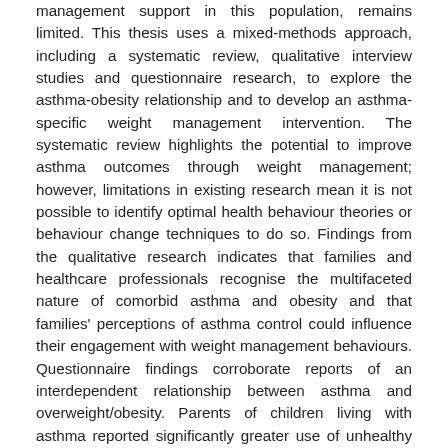management support in this population, remains limited. This thesis uses a mixed-methods approach, including a systematic review, qualitative interview studies and questionnaire research, to explore the asthma-obesity relationship and to develop an asthma-specific weight management intervention. The systematic review highlights the potential to improve asthma outcomes through weight management; however, limitations in existing research mean it is not possible to identify optimal health behaviour theories or behaviour change techniques to do so. Findings from the qualitative research indicates that families and healthcare professionals recognise the multifaceted nature of comorbid asthma and obesity and that families' perceptions of asthma control could influence their engagement with weight management behaviours. Questionnaire findings corroborate reports of an interdependent relationship between asthma and overweight/obesity. Parents of children living with asthma reported significantly greater use of unhealthy feeding practices, such as using food to regulate emotions and restricting food for weight control, monitoring of child activity levels, pressure to exercise and control over child activity than parents of children without asthma. Asthma control was found to moderate a positive relationship between specific concerns about asthma medication and parental control of active behaviours, and